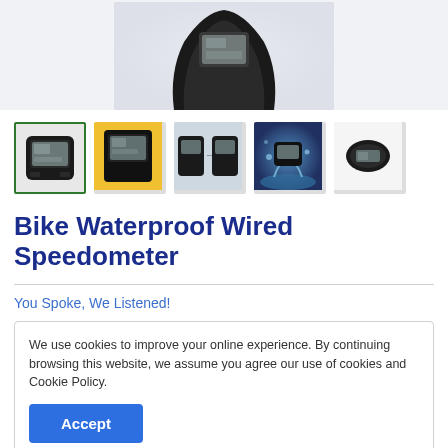[Figure (photo): Top portion of a black bike speedometer device on a light gray background, viewed from above]
[Figure (photo): Row of 5 product thumbnails for the bike speedometer: 1st selected with green border showing front view, 2nd on yellow bike, 3rd showing two units side by side, 4th with water splash, 5th isolated white background side view]
Bike Waterproof Wired Speedometer
You Spoke, We Listened!
We use cookies to improve your online experience. By continuing browsing this website, we assume you agree our use of cookies and Cookie Policy.
*Limited Time Offer*